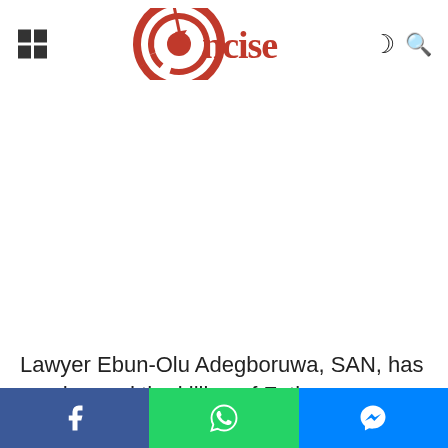Concise (logo)
[Figure (other): White advertisement placeholder area]
Lawyer Ebun-Olu Adegboruwa, SAN, has condemned the killing of Fatima, an indigene of
[Figure (other): Social share bar with Facebook, WhatsApp, and Messenger buttons]